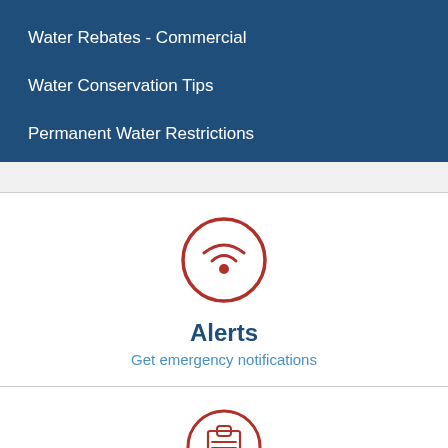Water Rebates - Commercial
Water Conservation Tips
Permanent Water Restrictions
[Figure (illustration): Circular red wifi/signal icon representing Alerts]
Alerts
Get emergency notifications
[Figure (illustration): Circular red clipboard icon at bottom of page]